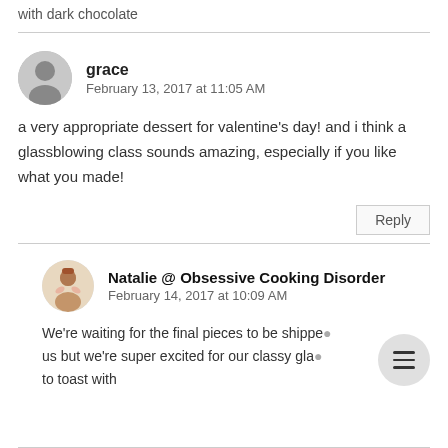with dark chocolate
grace
February 13, 2017 at 11:05 AM
a very appropriate dessert for valentine's day! and i think a glassblowing class sounds amazing, especially if you like what you made!
Reply
Natalie @ Obsessive Cooking Disorder
February 14, 2017 at 10:09 AM
We're waiting for the final pieces to be shipped to us but we're super excited for our classy gla... to toast with